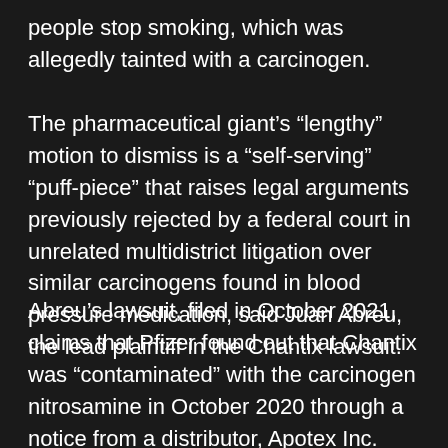people stop smoking, which was allegedly tainted with a carcinogen.
The pharmaceutical giant's “lengthy” motion to dismiss is a “self-serving” “puff-piece” that raises legal arguments previously rejected by a federal court in unrelated multidistrict litigation over similar carcinogens found in blood pressure medication, said Juan Abreu, the lead plaintiff in the Chantix lawsuit.
Abreu’s lawsuit, filed in October 2021, claims that Pfizer found out that Chantix was “contaminated” with the carcinogen nitrosamine in October 2020 through a notice from a distributor, Apotex Inc. The distributor, which is not a defendant in the suit, learned this from the Canadian health department,